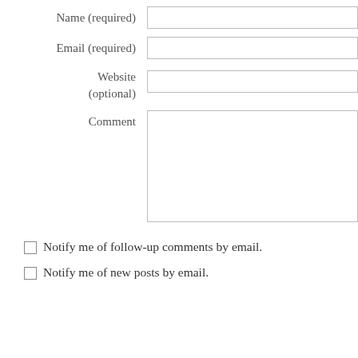Name (required)
Email (required)
Website (optional)
Comment
Notify me of follow-up comments by email.
Notify me of new posts by email.